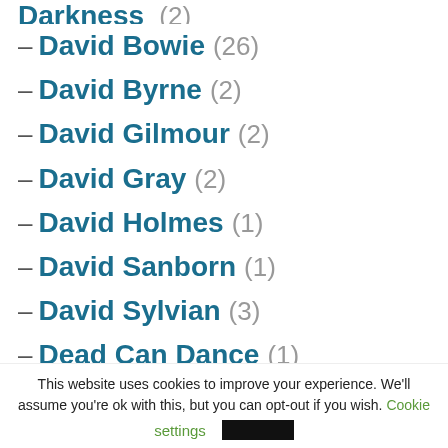– David Bowie (26)
– David Byrne (2)
– David Gilmour (2)
– David Gray (2)
– David Holmes (1)
– David Sanborn (1)
– David Sylvian (3)
– Dead Can Dance (1)
This website uses cookies to improve your experience. We'll assume you're ok with this, but you can opt-out if you wish. Cookie settings